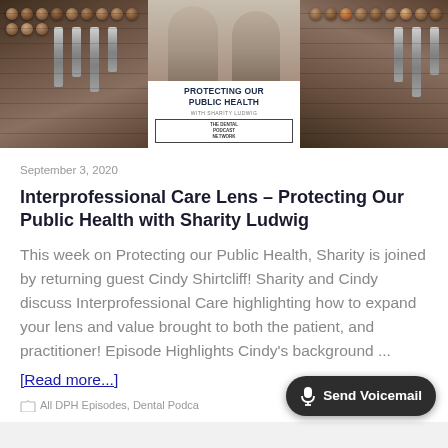[Figure (photo): Header image showing a podcast mixing board on left and right sides, with a center banner showing 'Protecting Our Public Health' podcast cover art featuring two people and dental podcast network logo]
September 3, 2020
Interprofessional Care Lens – Protecting Our Public Health with Sharity Ludwig
This week on Protecting our Public Health, Sharity is joined by returning guest Cindy Shirtcliff! Sharity and Cindy discuss Interprofessional Care highlighting how to expand your lens and value brought to both the patient, and practitioner! Episode Highlights Cindy's background ...
[Read more...]
All DPH Episodes, Dental Podca...
Send Voicemail